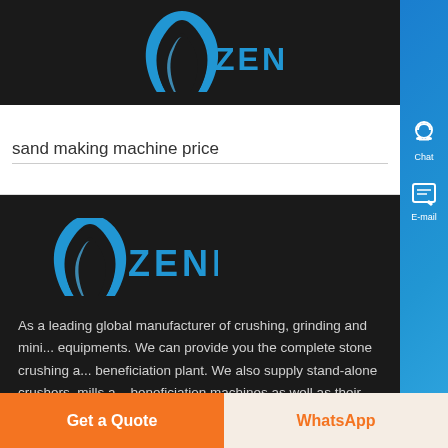[Figure (logo): Zenit company logo — blue arch/chevron icon with text ZENIT in blue on dark background, top header]
sand making machine price
[Figure (logo): Zenit company logo — blue arch/chevron icon with text ZENIT in blue on dark background, content area]
As a leading global manufacturer of crushing, grinding and mini... equipments. We can provide you the complete stone crushing a... beneficiation plant. We also supply stand-alone crushers, mills a... beneficiation machines as well as their spare parts.
Get a Quote
WhatsApp